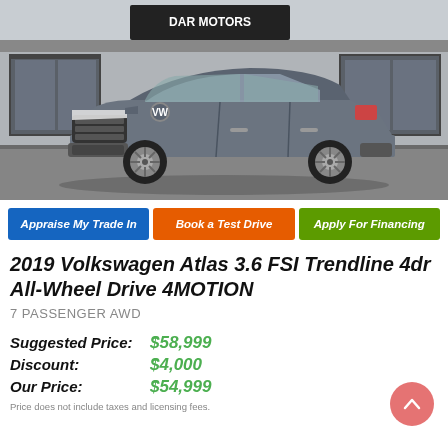[Figure (photo): Gray 2019 Volkswagen Atlas SUV parked in front of a dealership building with a 'Motors' sign, shot from a front-three-quarter angle.]
Appraise My Trade In
Book a Test Drive
Apply For Financing
2019 Volkswagen Atlas 3.6 FSI Trendline 4dr All-Wheel Drive 4MOTION
7 PASSENGER AWD
Suggested Price:  $58,999
Discount:  $4,000
Our Price:  $54,999
Price does not include taxes and licensing fees.